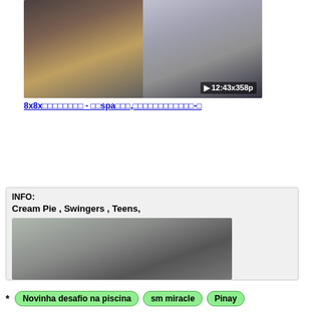[Figure (screenshot): Video thumbnail showing split frame with play button overlay and duration/resolution label '▶ 12:43x358p']
8x8x□□□□□□□□ - □□spa□□□,□□□□□□□□□□□□-□
INFO:
Cream Pie , Swingers , Teens,
[Figure (screenshot): Video thumbnail showing a blurry face close-up in dark tones]
* Novinha desafio na piscina   sm miracle   Pinay